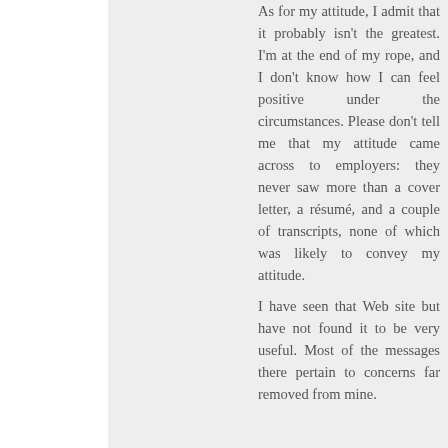As for my attitude, I admit that it probably isn't the greatest. I'm at the end of my rope, and I don't know how I can feel positive under the circumstances. Please don't tell me that my attitude came across to employers: they never saw more than a cover letter, a résumé, and a couple of transcripts, none of which was likely to convey my attitude.
I have seen that Web site but have not found it to be very useful. Most of the messages there pertain to concerns far removed from mine.
I'm glad that you found work as a non-traditional student.
Reply
Anonymous  December 14, 2012 at 7:50 AM
The schools can just get rid of a few of the $200k/year law school professors.